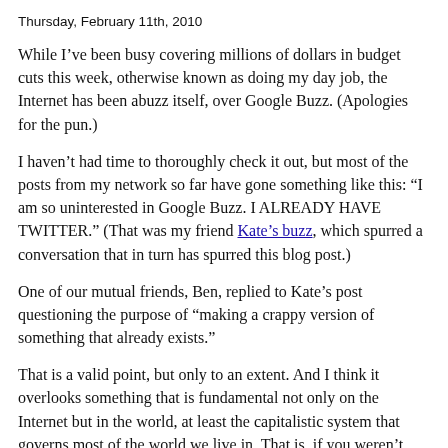Thursday, February 11th, 2010
While I've been busy covering millions of dollars in budget cuts this week, otherwise known as doing my day job, the Internet has been abuzz itself, over Google Buzz. (Apologies for the pun.)
I haven't had time to thoroughly check it out, but most of the posts from my network so far have gone something like this: “I am so uninterested in Google Buzz. I ALREADY HAVE TWITTER.” (That was my friend Kate's buzz, which spurred a conversation that in turn has spurred this blog post.)
One of our mutual friends, Ben, replied to Kate’s post questioning the purpose of “making a crappy version of something that already exists.”
That is a valid point, but only to an extent. And I think it overlooks something that is fundamental not only on the Internet but in the world, at least the capitalistic system that governs most of the world we live in. That is, if you weren’t constantly improving on something that’s already been invented, then we’d all still be riding around in Model T’s. We’d have no cell phones. We’d have no iPhone or any iPhone competitors. That isn’t to say all these inventions were crappy revisions (obviously they weren’t), but it probably depends who you ask and on which features you measure.